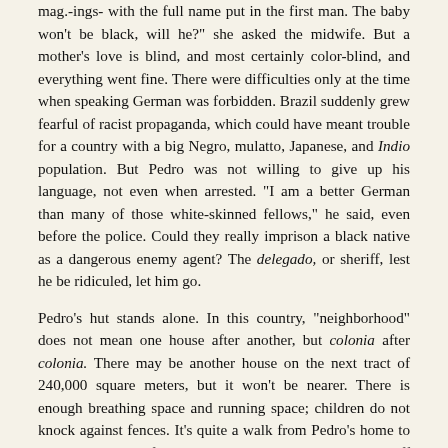mag.-ings- with the full name put in the first man. The baby won't be black, will he?" she asked the midwife. But a mother's love is blind, and most certainly color-blind, and everything went fine. There were difficulties only at the time when speaking German was forbidden. Brazil suddenly grew fearful of racist propaganda, which could have meant trouble for a country with a big Negro, mulatto, Japanese, and Indio population. But Pedro was not willing to give up his language, not even when arrested. "I am a better German than many of those white-skinned fellows," he said, even before the police. Could they really imprison a black native as a dangerous enemy agent? The delegado, or sheriff, lest he be ridiculed, let him go.
Pedro's hut stands alone. In this country, "neighborhood" does not mean one house after another, but colonia after colonia. There may be another house on the next tract of 240,000 square meters, but it won't be nearer. There is enough breathing space and running space; children do not knock against fences. It's quite a walk from Pedro's home to the next house. Before we get there a small road branches off the main one - the road to Inhambu.
Side roads mean temptations. The road to Inhambu seems to me like one to Utopia. (Inhambu is the Indian name of a bird, bigger than a dove and smaller than a chicken, which has